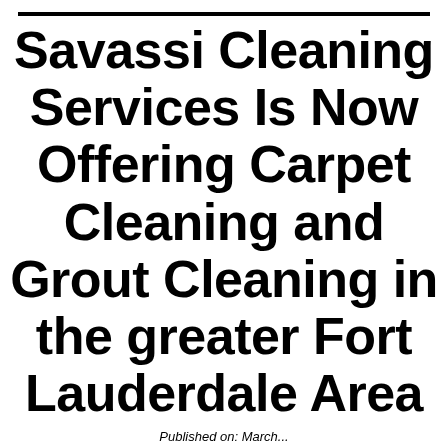Savassi Cleaning Services Is Now Offering Carpet Cleaning and Grout Cleaning in the greater Fort Lauderdale Area
Published on: March...